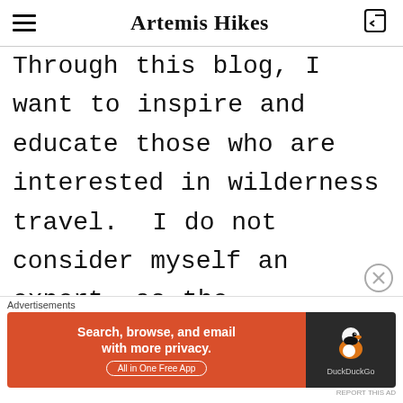Artemis Hikes
Through this blog, I want to inspire and educate those who are interested in wilderness travel.  I do not consider myself an expert, as the wilderness still has a great deal to teach me.  I want to share my experiences with anyone who is willing; who
[Figure (screenshot): DuckDuckGo advertisement banner: orange left panel with text 'Search, browse, and email with more privacy. All in One Free App' and dark right panel with DuckDuckGo duck logo]
Advertisements